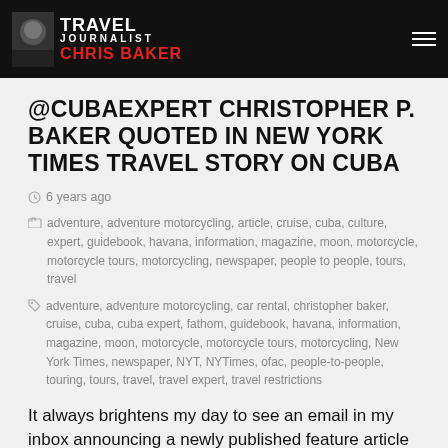Travel Journalist Chris Baker
@CUBAEXPERT CHRISTOPHER P. BAKER QUOTED IN NEW YORK TIMES TRAVEL STORY ON CUBA
6 years ago
adventure, adventure motorcycling, article, cruise, cuba, culture, expert, guidebook, havana, information, magazine, moon, motorcycle, motorcycle tours, motorcycling, newspaper, people to people, tours, travel
adventure, adventure motorcycling, car rental, christopher baker, cruise, cuba, cuba expert, fathom, guidebook, havana, information, magazine, moon, motorcycle, motorcycle tours, motorcycling, New York Times, newspaper, NYT, NYTimes, ofac, people-to-people, touring, tours, travel, travel expert, travel restrictions
It always brightens my day to see an email in my inbox announcing a newly published feature article with my